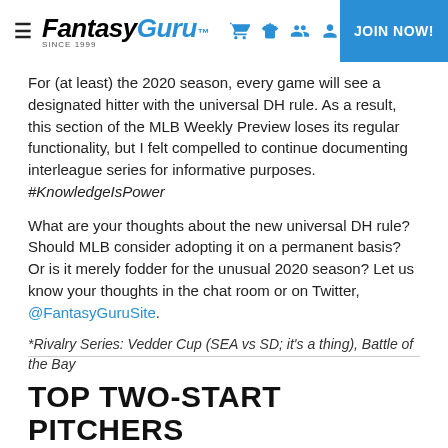FantasyGuru JOIN NOW!
For (at least) the 2020 season, every game will see a designated hitter with the universal DH rule. As a result, this section of the MLB Weekly Preview loses its regular functionality, but I felt compelled to continue documenting interleague series for informative purposes. #KnowledgeIsPower
What are your thoughts about the new universal DH rule? Should MLB consider adopting it on a permanent basis? Or is it merely fodder for the unusual 2020 season? Let us know your thoughts in the chat room or on Twitter, @FantasyGuruSite.
*Rivalry Series: Vedder Cup (SEA vs SD; it's a thing), Battle of the Bay
TOP TWO-START PITCHERS